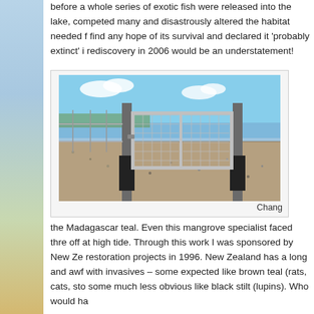before a whole series of exotic fish were released into the lake, competed many and disastrously altered the habitat needed for it to find any hope of its survival and declared it 'probably extinct' in rediscovery in 2006 would be an understatement!
[Figure (photo): A metal chain-link gate and fence on a gravel/rocky shoreline with water and sky in the background.]
Chang
the Madagascar teal. Even this mangrove specialist faced thre off at high tide. Through this work I was sponsored by New Ze restoration projects in 1996. New Zealand has a long and awf with invasives – some expected like brown teal (rats, cats, sto some much less obvious like black stilt (lupins). Who would ha